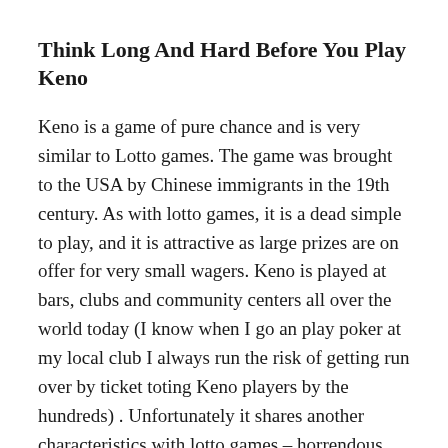Think Long And Hard Before You Play Keno
Keno is a game of pure chance and is very similar to Lotto games. The game was brought to the USA by Chinese immigrants in the 19th century. As with lotto games, it is a dead simple to play, and it is attractive as large prizes are on offer for very small wagers. Keno is played at bars, clubs and community centers all over the world today (I know when I go an play poker at my local club I always run the risk of getting run over by ticket toting Keno players by the hundreds) . Unfortunately it shares another characteristics with lotto games – horrendous odds.